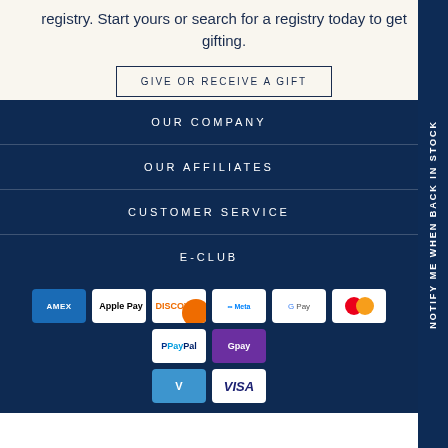registry. Start yours or search for a registry today to get gifting.
GIVE OR RECEIVE A GIFT
OUR COMPANY
OUR AFFILIATES
CUSTOMER SERVICE
E-CLUB
[Figure (logo): Payment method icons: Amex, Apple Pay, Discover, Meta Pay, Google Pay, Mastercard, PayPal, GPay (purple), Venmo, Visa]
NOTIFY ME WHEN BACK IN STOCK